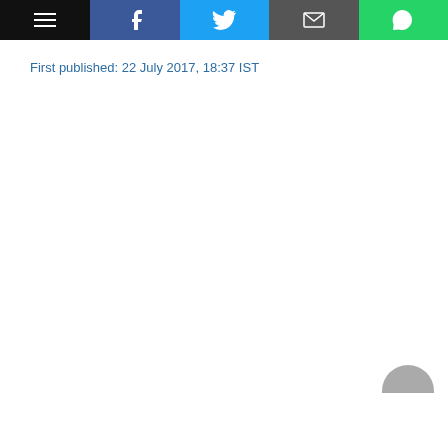[Toolbar with menu, Facebook, Twitter, Email, WhatsApp icons]
First published: 22 July 2017, 18:37 IST